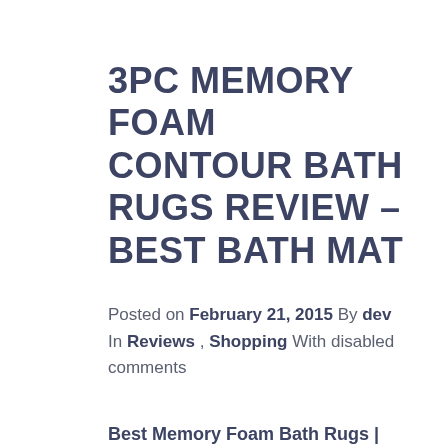3PC MEMORY FOAM CONTOUR BATH RUGS REVIEW – BEST BATH MAT
Posted on February 21, 2015 By dev In Reviews , Shopping With disabled comments
Best Memory Foam Bath Rugs | Mats | Review
The Memory Foam Contour Bath